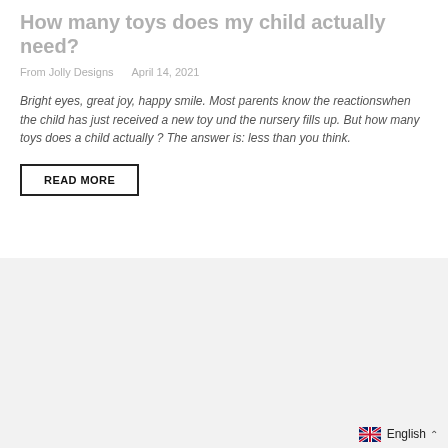How many toys does my child actually need?
From Jolly Designs   April 14, 2021
Bright eyes, great joy, happy smile. Most parents know the reactionswhen the child has just received a new toy und the nursery fills up. But how many toys does a child actually ? The answer is: less than you think.
READ MORE
[Figure (other): Gray background section]
English